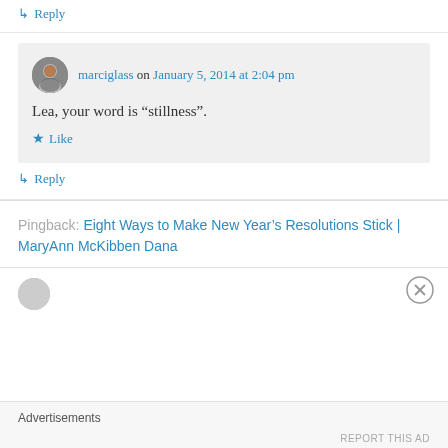↳ Reply
marciglass on January 5, 2014 at 2:04 pm
Lea, your word is “stillness”.
★ Like
↳ Reply
Pingback: Eight Ways to Make New Year’s Resolutions Stick | MaryAnn McKibben Dana
Advertisements
REPORT THIS AD